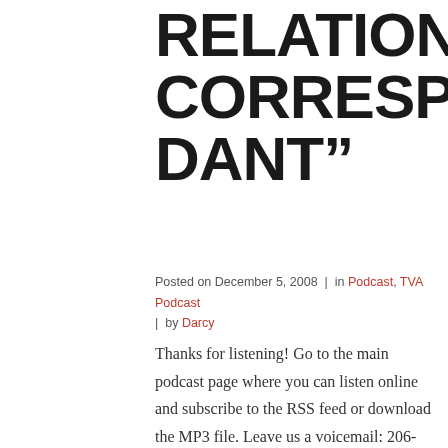RELATIONS CORRESPON DANT”
Posted on December 5, 2008  |  in Podcast, TVA Podcast  |  by Darcy
Thanks for listening! Go to the main podcast page where you can listen online and subscribe to the RSS feed or download the MP3 file. Leave us a voicemail: 206-202-8065 or email: feedback@heyitstva.com Check us out on Blubrry.com Vote for us on Podcastalley! Music: Primary Circuit Dub (PMN) by Dubtrak